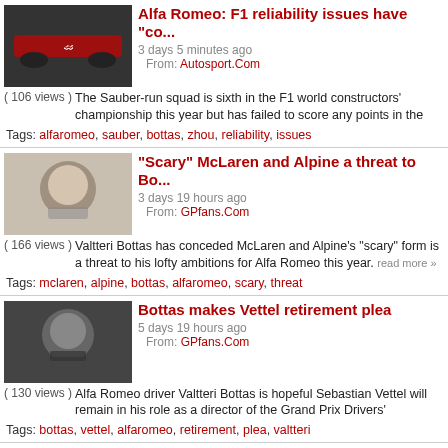Alfa Romeo: F1 reliability issues have "co... | 3 days 5 minutes ago | From: Autosport.Com | (106 views) The Sauber-run squad is sixth in the F1 world constructors' championship this year but has failed to score any points in the | Tags: alfaromeo, sauber, bottas, zhou, reliability, issues
"Scary" McLaren and Alpine a threat to Bo... | 3 days 19 hours ago | From: GPfans.Com | (166 views) Valtteri Bottas has conceded McLaren and Alpine's "scary" form is a threat to his lofty ambitions for Alfa Romeo this year. read more » | Tags: mclaren, alpine, bottas, alfaromeo, scary, threat
Bottas makes Vettel retirement plea | 5 days 19 hours ago | From: GPfans.Com | (130 views) Alfa Romeo driver Valtteri Bottas is hopeful Sebastian Vettel will remain in his role as a director of the Grand Prix Drivers' | Tags: bottas, vettel, alfaromeo, retirement, plea, valtteri
Zhou opens up on abuse ahead of F1 deb... | 6 days 35 minutes ago | From: Autosport.Com | Zhou became China's first full-time F1 driver this year after...